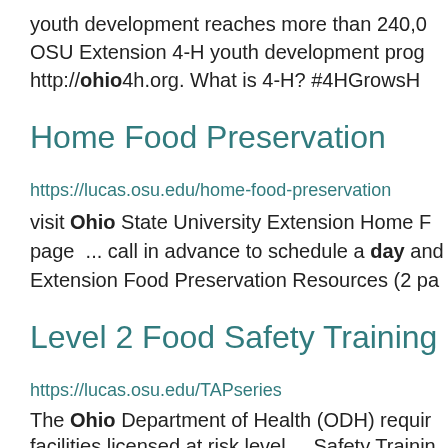youth development reaches more than 240,0 OSU Extension 4-H youth development prog http://ohio4h.org. What is 4-H? #4HGrowsH
Home Food Preservation
https://lucas.osu.edu/home-food-preservation
visit Ohio State University Extension Home F page  ... call in advance to schedule a day and Extension Food Preservation Resources (2 pa
Level 2 Food Safety Training
https://lucas.osu.edu/TAPseries
The Ohio Department of Health (ODH) requir facilities licensed at risk level ... Safety Trainin